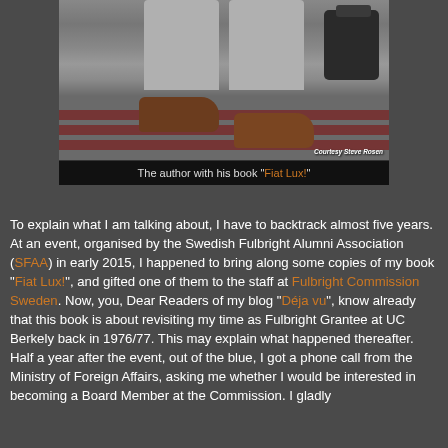[Figure (photo): Photo of a person sitting on steps with a book and bag, lower body visible. Photo credit: Courtesy Steve Rosen]
The author with his book "Fiat Lux!"
To explain what I am talking about, I have to backtrack almost five years. At an event, organised by the Swedish Fulbright Alumni Association (SFAA) in early 2015, I happened to bring along some copies of my book "Fiat Lux!", and gifted one of them to the staff at Fulbright Commission Sweden. Now, you, Dear Readers of my blog "Déja vu", know already that this book is about revisiting my time as Fulbright Grantee at UC Berkely back in 1976/77. This may explain what happened thereafter. Half a year after the event, out of the blue, I got a phone call from the Ministry of Foreign Affairs, asking me whether I would be interested in becoming a Board Member at the Commission. I gladly